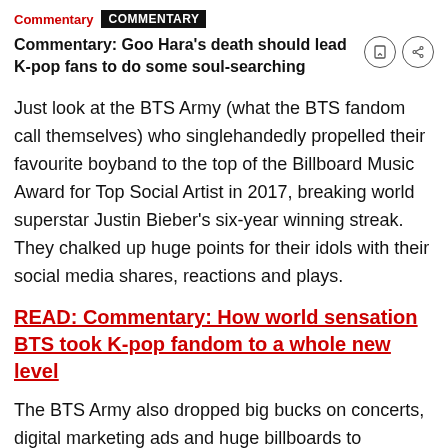Commentary | COMMENTARY
Commentary: Goo Hara's death should lead K-pop fans to do some soul-searching
Just look at the BTS Army (what the BTS fandom call themselves) who singlehandedly propelled their favourite boyband to the top of the Billboard Music Award for Top Social Artist in 2017, breaking world superstar Justin Bieber's six-year winning streak. They chalked up huge points for their idols with their social media shares, reactions and plays.
READ: Commentary: How world sensation BTS took K-pop fandom to a whole new level
The BTS Army also dropped big bucks on concerts, digital marketing ads and huge billboards to demonstrate their love and promote their artistes –